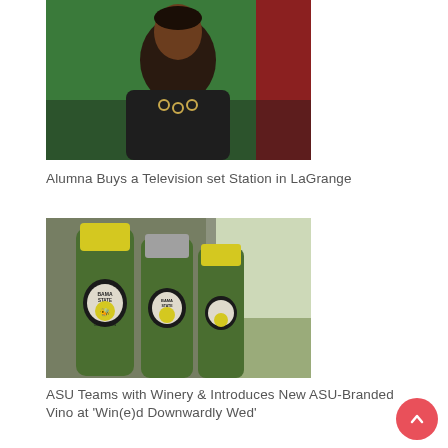[Figure (photo): Portrait photo of a woman wearing a dark sleeveless top with gold ring accents, in front of a green background with red visible on the right side]
Alumna Buys a Television set Station in LaGrange
[Figure (photo): Close-up photo of wine bottles with yellow and dark circular labels reading 'BAMA STATE' and showing a bee/hornet logo, labeled as 'BAMA STATE Collection']
ASU Teams with Winery & Introduces New ASU-Branded Vino at 'Win(e)d Downwardly Wed'